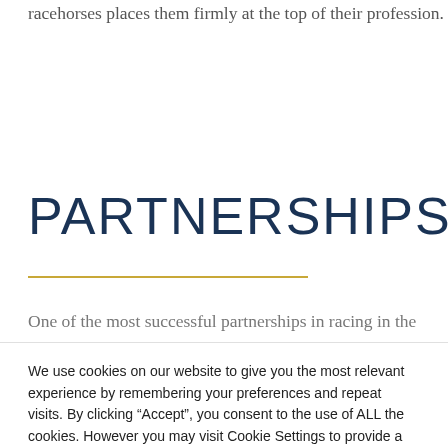racehorses places them firmly at the top of their profession.
PARTNERSHIPS
One of the most successful partnerships in racing in the
We use cookies on our website to give you the most relevant experience by remembering your preferences and repeat visits. By clicking “Accept”, you consent to the use of ALL the cookies. However you may visit Cookie Settings to provide a controlled consent.